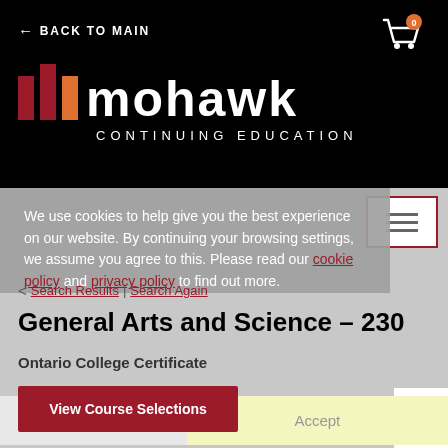← BACK TO MAIN
[Figure (logo): Mohawk Continuing Education logo with three vertical bars (dark red, dark red, orange) and white text reading 'mohawk CONTINUING EDUCATION' on black background]
We use cookies to help give you the best experience on our website. By continuing your browsing settings, we assume you agree to this. Please read our cookie policy and privacy policy to find out more.
< Search Results | Search Again
General Arts and Science – 230
Ontario College Certificate
Close | Accept
View Course Selections